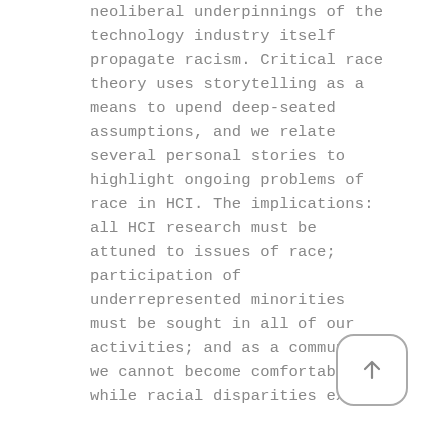neoliberal underpinnings of the technology industry itself propagate racism. Critical race theory uses storytelling as a means to upend deep-seated assumptions, and we relate several personal stories to highlight ongoing problems of race in HCI. The implications: all HCI research must be attuned to issues of race; participation of underrepresented minorities must be sought in all of our activities; and as a community, we cannot become comfortable while racial disparities exist.